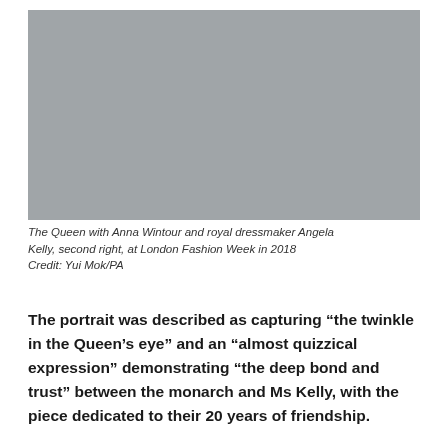[Figure (photo): Gray placeholder image representing a photo of The Queen with Anna Wintour and royal dressmaker Angela Kelly at London Fashion Week in 2018]
The Queen with Anna Wintour and royal dressmaker Angela Kelly, second right, at London Fashion Week in 2018
Credit: Yui Mok/PA
The portrait was described as capturing “the twinkle in the Queen’s eye” and an “almost quizzical expression” demonstrating “the deep bond and trust” between the monarch and Ms Kelly, with the piece dedicated to their 20 years of friendship.